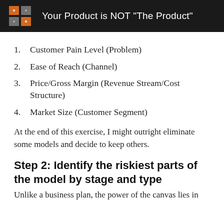Your Product is NOT "The Product"
1.  Customer Pain Level (Problem)
2.  Ease of Reach (Channel)
3.  Price/Gross Margin (Revenue Stream/Cost Structure)
4.  Market Size (Customer Segment)
At the end of this exercise, I might outright eliminate some models and decide to keep others.
Step 2: Identify the riskiest parts of the model by stage and type
Unlike a business plan, the power of the canvas lies in